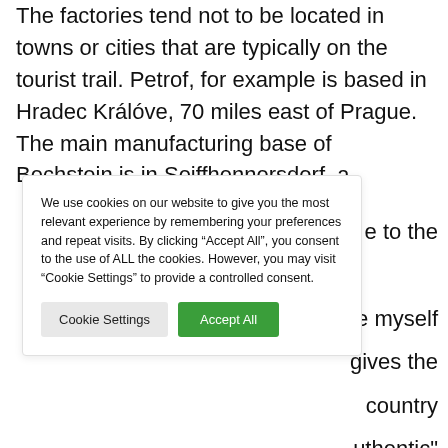The factories tend not to be located in towns or cities that are typically on the tourist trail. Petrof, for example is based in Hradec Králóve, 70 miles east of Prague. The main manufacturing base of Bechstein is in Seiffhennersdorf, a [...]e to the [...] ce myself [...] gives the [...] country [...] uthentic" [...] e.
We use cookies on our website to give you the most relevant experience by remembering your preferences and repeat visits. By clicking “Accept All”, you consent to the use of ALL the cookies. However, you may visit "Cookie Settings" to provide a controlled consent.